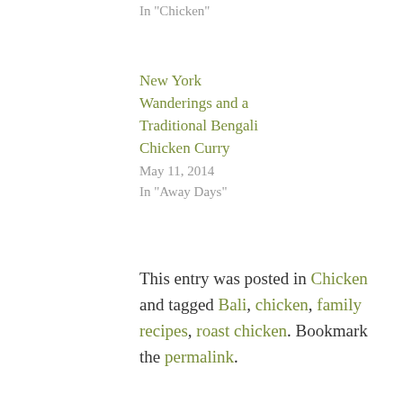In "Chicken"
New York Wanderings and a Traditional Bengali Chicken Curry
May 11, 2014
In "Away Days"
This entry was posted in Chicken and tagged Bali, chicken, family recipes, roast chicken. Bookmark the permalink.
Previous post   Next post